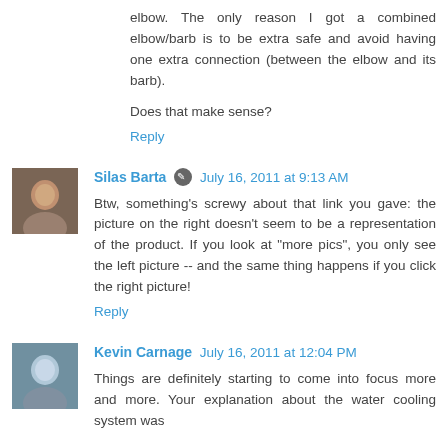elbow. The only reason I got a combined elbow/barb is to be extra safe and avoid having one extra connection (between the elbow and its barb).
Does that make sense?
Reply
Silas Barta  July 16, 2011 at 9:13 AM
Btw, something's screwy about that link you gave: the picture on the right doesn't seem to be a representation of the product. If you look at "more pics", you only see the left picture -- and the same thing happens if you click the right picture!
Reply
Kevin Carnage  July 16, 2011 at 12:04 PM
Things are definitely starting to come into focus more and more. Your explanation about the water cooling system was